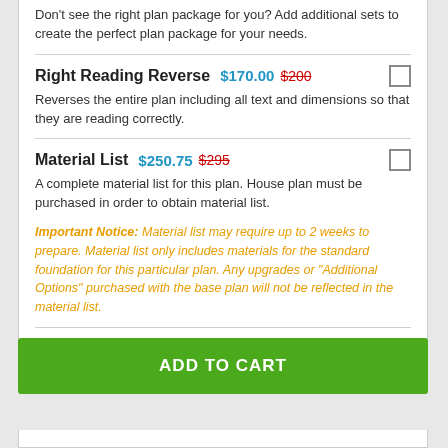Don't see the right plan package for you? Add additional sets to create the perfect plan package for your needs.
Right Reading Reverse  $170.00  $200
Reverses the entire plan including all text and dimensions so that they are reading correctly.
Material List  $250.75  $295
A complete material list for this plan. House plan must be purchased in order to obtain material list.
Important Notice: Material list may require up to 2 weeks to prepare. Material list only includes materials for the standard foundation for this particular plan. Any upgrades or "Additional Options" purchased with the base plan will not be reflected in the material list.
View Sample Material List
ADD TO CART